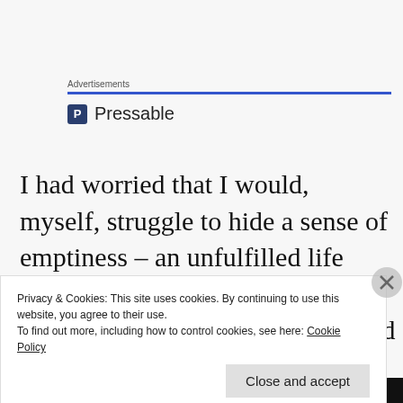Advertisements
[Figure (logo): Pressable logo with blue P icon and Pressable text]
I had worried that I would, myself, struggle to hide a sense of emptiness – an unfulfilled life surrounded by those who have found happiness. I was wrong, and I'm glad it was an unfounded
Privacy & Cookies: This site uses cookies. By continuing to use this website, you agree to their use.
To find out more, including how to control cookies, see here: Cookie Policy
Close and accept